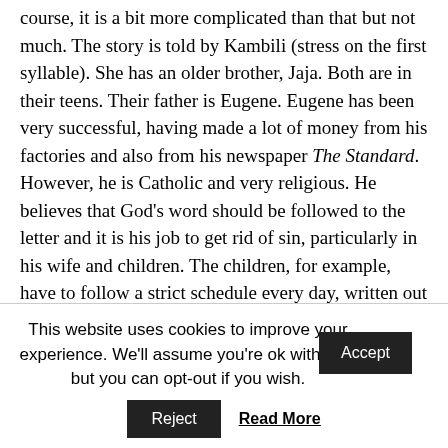course, it is a bit more complicated than that but not much. The story is told by Kambili (stress on the first syllable). She has an older brother, Jaja. Both are in their teens. Their father is Eugene. Eugene has been very successful, having made a lot of money from his factories and also from his newspaper The Standard. However, he is Catholic and very religious. He believes that God's word should be followed to the letter and it is his job to get rid of sin, particularly in his wife and children. The children, for example, have to follow a strict schedule every day, written out for them by their father. This involves study and prayer. They have little time for fun.
This website uses cookies to improve your experience. We'll assume you're ok with this, but you can opt-out if you wish. Accept Reject Read More